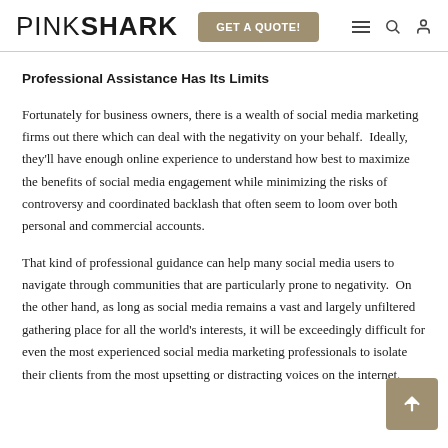PINKSHARK | GET A QUOTE!
Professional Assistance Has Its Limits
Fortunately for business owners, there is a wealth of social media marketing firms out there which can deal with the negativity on your behalf.  Ideally, they'll have enough online experience to understand how best to maximize the benefits of social media engagement while minimizing the risks of controversy and coordinated backlash that often seem to loom over both personal and commercial accounts.
That kind of professional guidance can help many social media users to navigate through communities that are particularly prone to negativity.  On the other hand, as long as social media remains a vast and largely unfiltered gathering place for all the world's interests, it will be exceedingly difficult for even the most experienced social media marketing professionals to isolate their clients from the most upsetting or distracting voices on the internet.